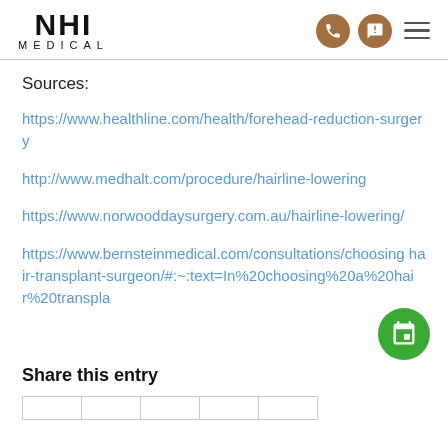NHI MEDICAL
Sources:
https://www.healthline.com/health/forehead-reduction-surgery
http://www.medhalt.com/procedure/hairline-lowering
https://www.norwooddaysurgery.com.au/hairline-lowering/
https://www.bernsteinmedical.com/consultations/choosing hair-transplant-surgeon/#:~:text=In%20choosing%20a%20hair%20transpla
Share this entry